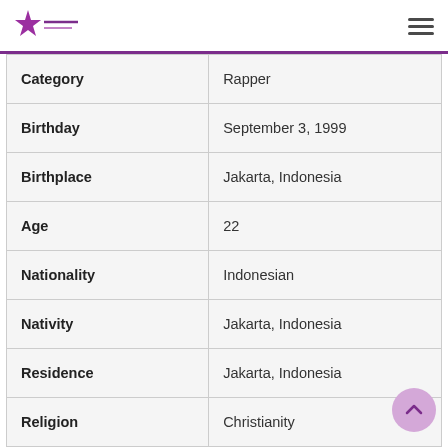Celebrity Birthday logo and hamburger menu
| Category | Value |
| --- | --- |
| Category | Rapper |
| Birthday | September 3, 1999 |
| Birthplace | Jakarta, Indonesia |
| Age | 22 |
| Nationality | Indonesian |
| Nativity | Jakarta, Indonesia |
| Residence | Jakarta, Indonesia |
| Religion | Christianity |